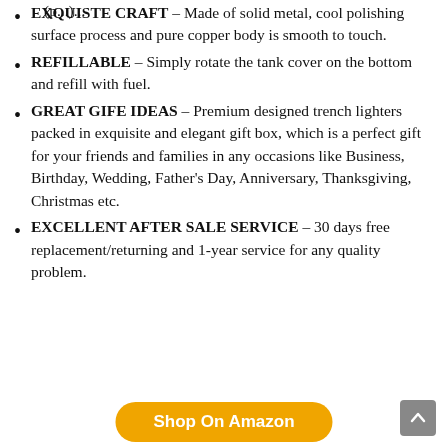EXQUISTE CRAFT – Made of solid metal, cool polishing surface process and pure copper body is smooth to touch.
REFILLABLE – Simply rotate the tank cover on the bottom and refill with fuel.
GREAT GIFE IDEAS – Premium designed trench lighters packed in exquisite and elegant gift box, which is a perfect gift for your friends and families in any occasions like Business, Birthday, Wedding, Father's Day, Anniversary, Thanksgiving, Christmas etc.
EXCELLENT AFTER SALE SERVICE – 30 days free replacement/returning and 1-year service for any quality problem.